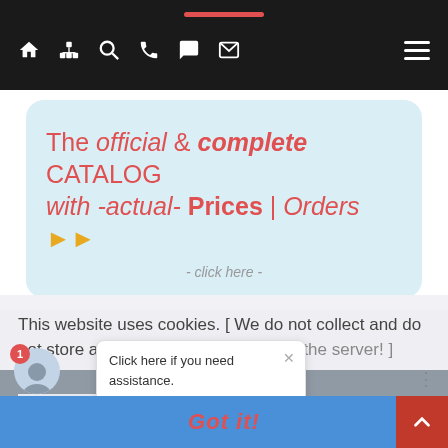[Figure (screenshot): Website navigation bar with dark background, icons for home, sitemap, search, phone, chat, mail, and hamburger menu]
[Figure (infographic): Light blue rounded banner reading: The official & complete CATALOG with -actual- Prices | Orders with orange arrows and - click here - link]
This website uses cookies. [ We do not collect and do not store any personal information on the server! ]
...more information... [Cookie Policy & GDPR statement (Data Protection
[Figure (screenshot): Chat tooltip popup: Click here if you need assistance. TYPE YOUR QUESTION to start the Chat! Online Customer Support]
Got it!